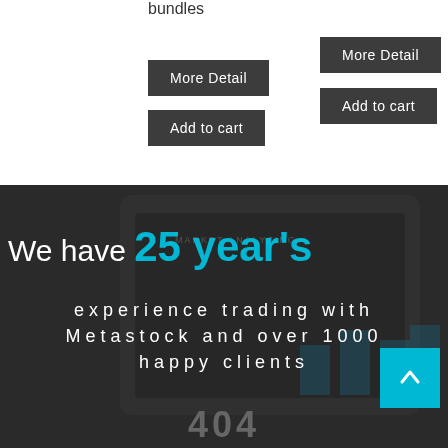bundles
More Detail
More Detail
Add to cart
Add to cart
We have 25 year's experience trading with Metastock and over 1000 happy clients